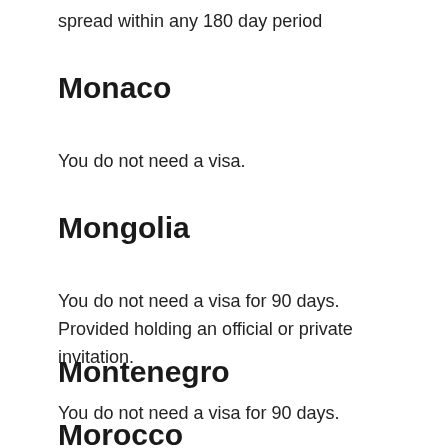spread within any 180 day period
Monaco
You do not need a visa.
Mongolia
You do not need a visa for 90 days. Provided holding an official or private invitation.
Montenegro
You do not need a visa for 90 days.
Morocco